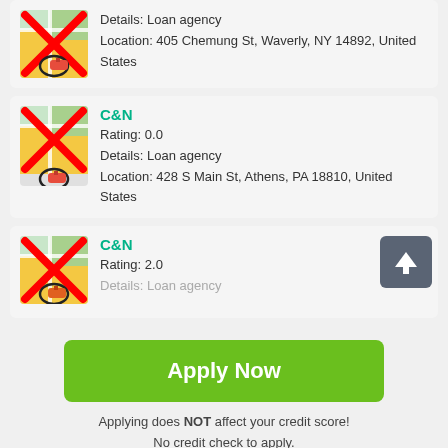[Figure (screenshot): Map icon with red X overlay and circled red pen/marker icon - loan agency listing thumbnail]
Details: Loan agency
Location: 405 Chemung St, Waverly, NY 14892, United States
[Figure (screenshot): Map icon with red X overlay and circled red pen/marker icon - C&N loan agency listing thumbnail]
C&N
Rating: 0.0
Details: Loan agency
Location: 428 S Main St, Athens, PA 18810, United States
[Figure (screenshot): Map icon with red X overlay and circled red pen/marker icon - C&N loan agency listing thumbnail]
C&N
Rating: 2.0
Details: Loan agency
[Figure (other): Dark grey square button with white upward arrow]
Apply Now
Applying does NOT affect your credit score!
No credit check to apply.